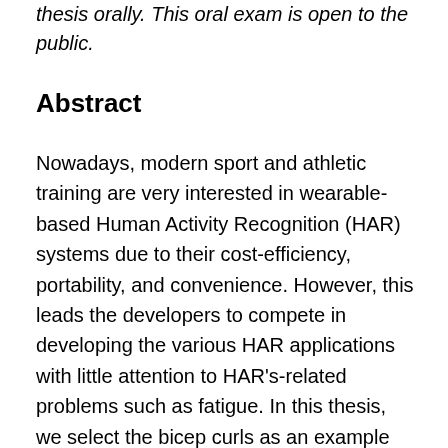thesis orally. This oral exam is open to the public.
Abstract
Nowadays, modern sport and athletic training are very interested in wearable-based Human Activity Recognition (HAR) systems due to their cost-efficiency, portability, and convenience. However, this leads the developers to compete in developing the various HAR applications with little attention to HAR's-related problems such as fatigue. In this thesis, we select the bicep curls as an example